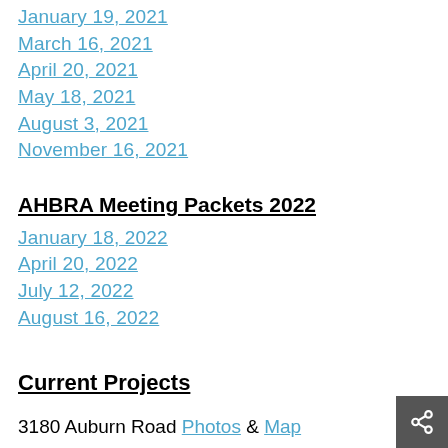January 19, 2021
March 16, 2021
April 20, 2021
May 18, 2021
August 3, 2021
November 16, 2021
AHBRA Meeting Packets 2022
January 18, 2022
April 20, 2022
July 12, 2022
August 16, 2022
Current Projects
3180 Auburn Road Photos & Map
2041 Auburn Road (Kayak Point)
Galloway Creek Quarterly Testing
First Quarter Results
Second Quarter Results